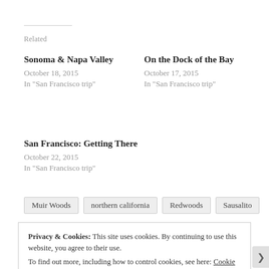Related
Sonoma & Napa Valley
October 18, 2015
In "San Francisco trip"
On the Dock of the Bay
October 17, 2015
In "San Francisco trip"
San Francisco: Getting There
October 22, 2015
In "San Francisco trip"
Muir Woods
northern california
Redwoods
Sausalito
Privacy & Cookies: This site uses cookies. By continuing to use this website, you agree to their use.
To find out more, including how to control cookies, see here: Cookie Policy